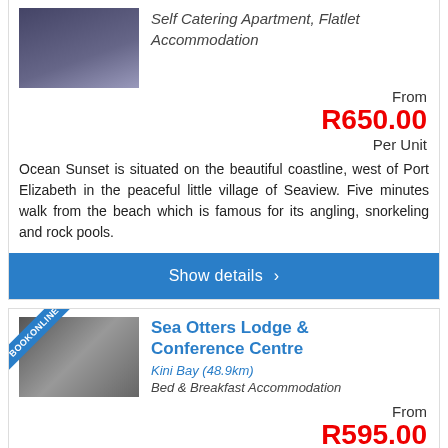[Figure (photo): Photo of a coastal accommodation property with a pool area, partially visible at top of page]
Self Catering Apartment, Flatlet Accommodation
From
R650.00
Per Unit
Ocean Sunset is situated on the beautiful coastline, west of Port Elizabeth in the peaceful little village of Seaview. Five minutes walk from the beach which is famous for its angling, snorkeling and rock pools.
Show details
[Figure (photo): Photo of Sea Otters Lodge & Conference Centre building exterior with BOOK ONLINE ribbon badge]
Sea Otters Lodge & Conference Centre
Kini Bay (48.9km)
Bed & Breakfast Accommodation
From
R595.00
Per Person
Savour the peace and quiet of this beautiful hidden gem, while listening to the waves breaking on the shore, perched